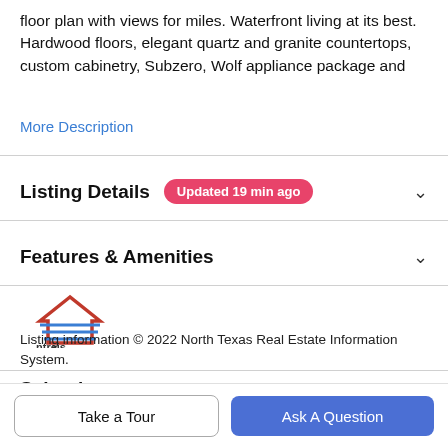floor plan with views for miles. Waterfront living at its best. Hardwood floors, elegant quartz and granite countertops, custom cabinetry, Subzero, Wolf appliance package and
More Description
Listing Details  Updated 19 min ago
Features & Amenities
[Figure (logo): NTREIS logo - North Texas Real Estate Information System logo with house/building icon in red and blue]
Listing information © 2022 North Texas Real Estate Information System.
Schools
Take a Tour
Ask A Question